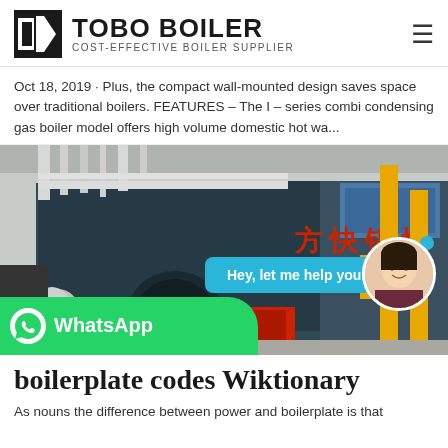TOBO BOILER — COST-EFFECTIVE BOILER SUPPLIER
Oct 18, 2019 · Plus, the compact wall-mounted design saves space over traditional boilers. FEATURES – The I – series combi condensing gas boiler model offers high volume domestic hot wa...
[Figure (photo): Industrial boiler room with large dark-cased boiler unit. Chinese red text on boiler face reads 方快锅炉. Yellow pipe columns on the right side. Chat overlay with 'Hey, let me help you!' bubble and WhatsApp bar at bottom.]
boilerplate codes Wiktionary
As nouns the difference between power and boilerplate is that